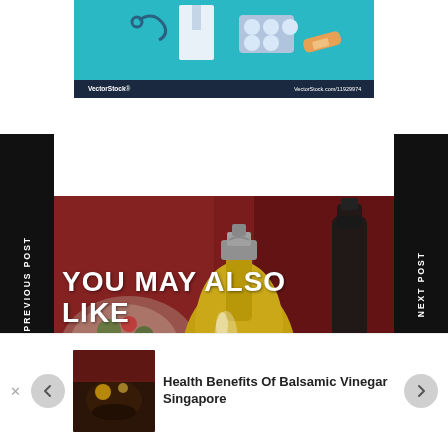[Figure (illustration): VectorStock medical illustration showing doctor coat, pills and bandage on teal background with VectorStock watermark bar]
PREVIOUS POST
NEXT POST
[Figure (photo): Photo of olive oil bottle in ornate glass decanter with food and dark bottle in background against red-brown background]
YOU MAY ALSO LIKE
[Figure (photo): Thumbnail image of balsamic vinegar and food dish]
Health Benefits Of Balsamic Vinegar Singapore